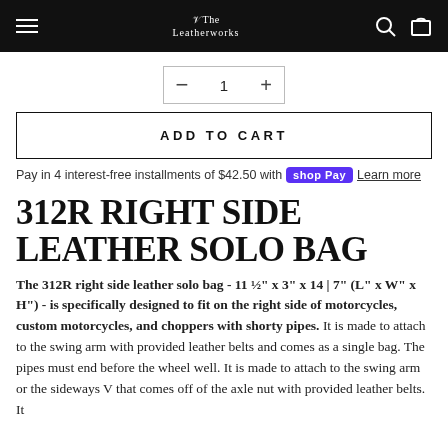The Leatherworks — navigation header
— 1 +
ADD TO CART
Pay in 4 interest-free installments of $42.50 with Shop Pay Learn more
312R RIGHT SIDE LEATHER SOLO BAG
The 312R right side leather solo bag - 11 ½" x 3" x 14 | 7" (L" x W" x H") - is specifically designed to fit on the right side of motorcycles, custom motorcycles, and choppers with shorty pipes. It is made to attach to the swing arm with provided leather belts and comes as a single bag. The pipes must end before the wheel well. It is made to attach to the swing arm or the sideways V that comes off of the axle nut with provided leather belts. It comes with a single-bag holder.